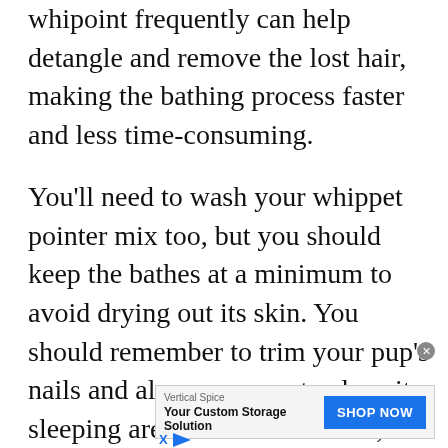whipoint frequently can help detangle and remove the lost hair, making the bathing process faster and less time-consuming.
You'll need to wash your whippet pointer mix too, but you should keep the bathes at a minimum to avoid drying out its skin. You should remember to trim your pup's nails and always ensure to clean its sleeping area for a comfortable, sound sleep.
[Figure (other): Video overlay with 'No compatible source was found for this media.' message and advertisement for Vertical Spice 'Your Custom Storage Solution' with SHOP NOW button]